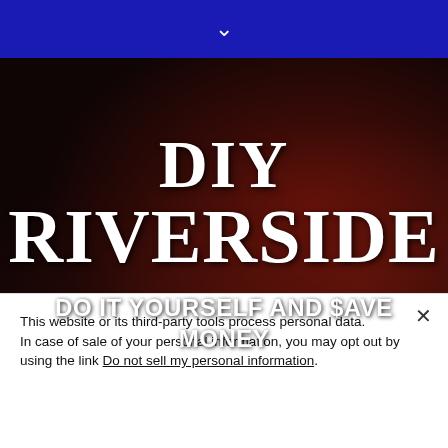▾
DIY RIVERSIDE
DO IT YOURSELF AND $AVE MONEY
This website or its third-party tools process personal data.
In case of sale of your personal information, you may opt out by using the link Do not sell my personal information.